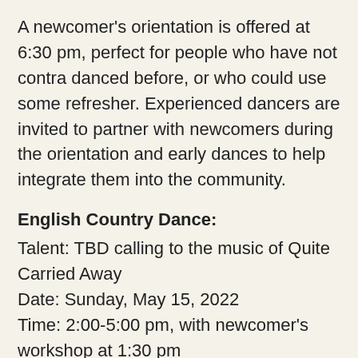A newcomer's orientation is offered at 6:30 pm, perfect for people who have not contra danced before, or who could use some refresher. Experienced dancers are invited to partner with newcomers during the orientation and early dances to help integrate them into the community.
English Country Dance:
Talent: TBD calling to the music of Quite Carried Away
Date: Sunday, May 15, 2022
Time: 2:00-5:00 pm, with newcomer's workshop at 1:30 pm
Location: Polish American Hall, 327 Main St, Roseville
Cost: $10 for adults; $8 for college students with